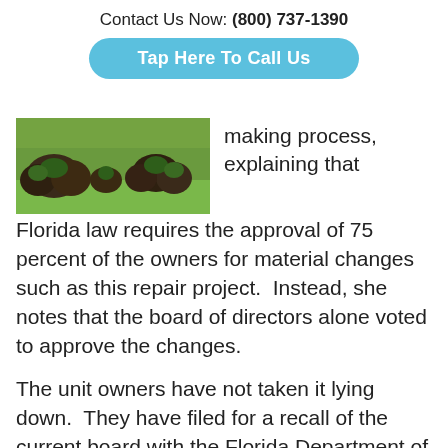Contact Us Now: (800) 737-1390
Tap Here To Call Us
[Figure (photo): Outdoor landscape photo showing ornamental grass and shrub plantings on a green lawn]
making process, explaining that Florida law requires the approval of 75 percent of the owners for material changes such as this repair project.  Instead, she notes that the board of directors alone voted to approve the changes.
The unit owners have not taken it lying down.  They have filed for a recall of the current board with the Florida Department of Business and Professional Regulation, which could result in replacing the directors and property management company.